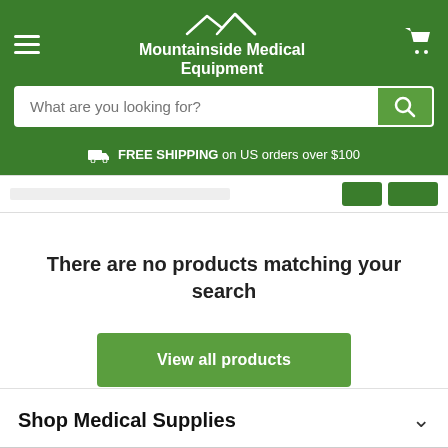[Figure (logo): Mountainside Medical Equipment logo with mountain silhouette and white text on green background]
What are you looking for?
FREE SHIPPING on US orders over $100
There are no products matching your search
View all products
Shop Medical Supplies